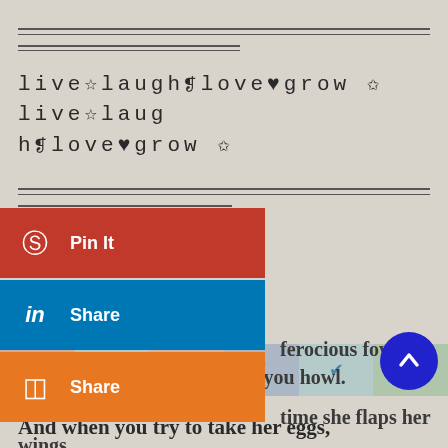live☆laugh❡love♥grow ✩ live☆laugh❡love♥grow ✩
[Figure (screenshot): Social share buttons: Pinterest Pin It (red), LinkedIn Share (blue), Blogger Share (orange), Instagram Share (pink), Goodreads (olive), Tumblr (dark blue), More (gray)]
The hen, a ferocious fowl, She pecks you till she makes you howl.
Anytime she flaps her wings, And says the most insulting things.
[Figure (screenshot): Row of social media icons at bottom: Pinterest, Skype, YouTube, Facebook, Twitter, WhatsApp]
And when you try to take her eggs,